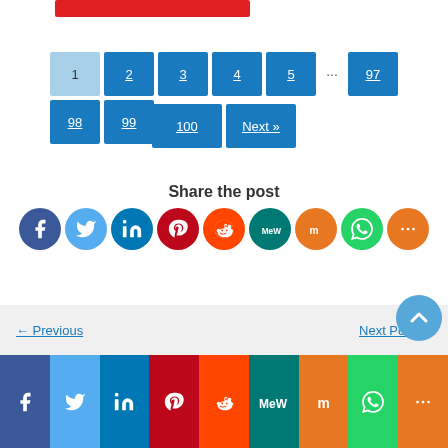[Figure (screenshot): Red banner bar at top]
[Figure (screenshot): Pagination navigation with pages 1-5, ..., 97, 98, 99, 100, Next]
Share the post
[Figure (infographic): Social sharing icons: Facebook, Twitter, LinkedIn, Pinterest, Reddit, MeWe, Mix, WhatsApp, More]
[Figure (infographic): Previous / Next Post navigation with scroll-to-top button]
[Figure (infographic): Bottom social sharing bar: Facebook, Twitter, LinkedIn, Pinterest, Reddit, MeWe, Mix, WhatsApp, More]